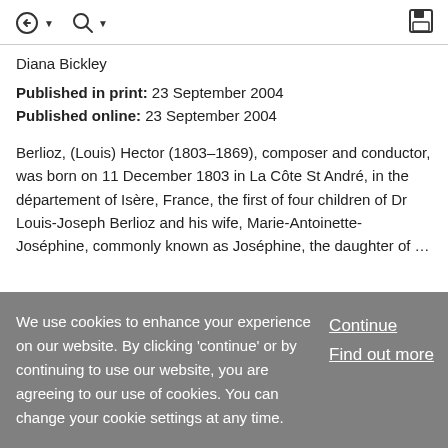← ▼  🔍 ▼  [save icon]
Diana Bickley
Published in print: 23 September 2004
Published online: 23 September 2004
Berlioz, (Louis) Hector (1803–1869), composer and conductor, was born on 11 December 1803 in La Côte St André, in the département of Isère, France, the first of four children of Dr Louis-Joseph Berlioz and his wife, Marie-Antoinette-Joséphine, commonly known as Joséphine, the daughter of …
We use cookies to enhance your experience on our website. By clicking 'continue' or by continuing to use our website, you are agreeing to our use of cookies. You can change your cookie settings at any time.
Continue
Find out more